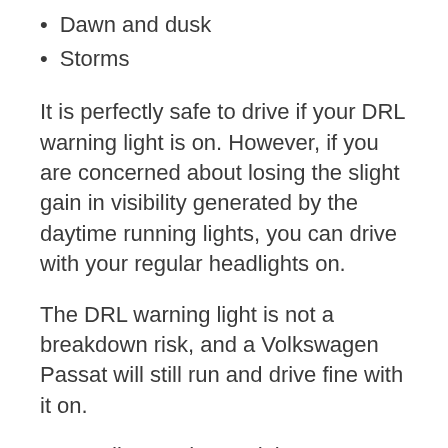Dawn and dusk
Storms
It is perfectly safe to drive if your DRL warning light is on. However, if you are concerned about losing the slight gain in visibility generated by the daytime running lights, you can drive with your regular headlights on.
The DRL warning light is not a breakdown risk, and a Volkswagen Passat will still run and drive fine with it on.
Depending on the model year, some DRL systems are tied to the headlights, and you should make sure that the normal